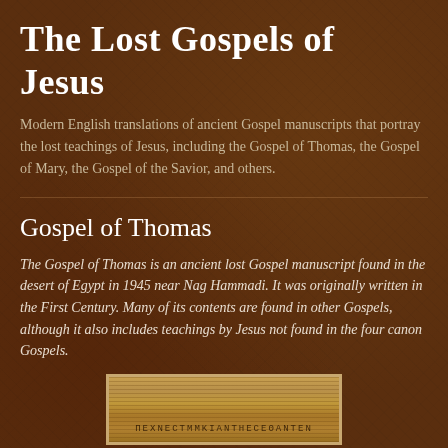The Lost Gospels of Jesus
Modern English translations of ancient Gospel manuscripts that portray the lost teachings of Jesus, including the Gospel of Thomas, the Gospel of Mary, the Gospel of the Savior, and others.
Gospel of Thomas
The Gospel of Thomas is an ancient lost Gospel manuscript found in the desert of Egypt in 1945 near Nag Hammadi. It was originally written in the First Century. Many of its contents are found in other Gospels, although it also includes teachings by Jesus not found in the four canon Gospels.
[Figure (photo): Photograph of an ancient manuscript with Coptic or Greek text written on aged papyrus, showing handwritten lines of ancient script.]